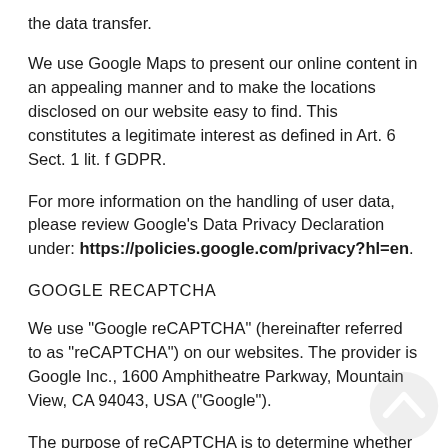the data transfer.
We use Google Maps to present our online content in an appealing manner and to make the locations disclosed on our website easy to find. This constitutes a legitimate interest as defined in Art. 6 Sect. 1 lit. f GDPR.
For more information on the handling of user data, please review Google’s Data Privacy Declaration under: https://policies.google.com/privacy?hl=en.
GOOGLE RECAPTCHA
We use “Google reCAPTCHA” (hereinafter referred to as “reCAPTCHA”) on our websites. The provider is Google Inc., 1600 Amphitheatre Parkway, Mountain View, CA 94043, USA (“Google”).
The purpose of reCAPTCHA is to determine whether data entered on our websites (e.g. information